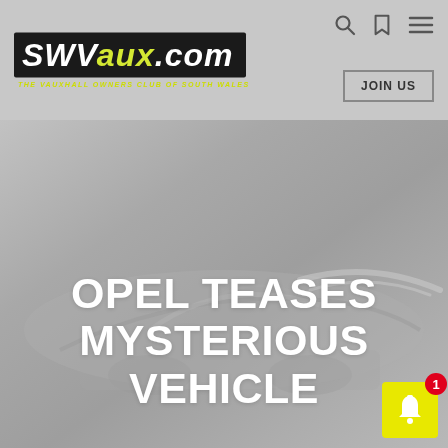SWVaux.com - The Vauxhall Owners Club of South Wales
[Figure (screenshot): Hero teaser image of a blurred/silhouetted vehicle in gray tones, with navigation bar at top showing SUVaux.com logo, search icon, bookmark icon, menu icon, and JOIN US button]
OPEL TEASES MYSTERIOUS VEHICLE